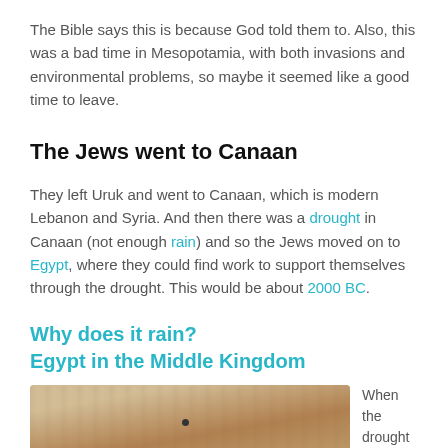The Bible says this is because God told them to. Also, this was a bad time in Mesopotamia, with both invasions and environmental problems, so maybe it seemed like a good time to leave.
The Jews went to Canaan
They left Uruk and went to Canaan, which is modern Lebanon and Syria. And then there was a drought in Canaan (not enough rain) and so the Jews moved on to Egypt, where they could find work to support themselves through the drought. This would be about 2000 BC.
Why does it rain?
Egypt in the Middle Kingdom
[Figure (photo): A wooden artifact (clay tablet or wooden board) on a light background, partially visible at the bottom of the page.]
When the drought